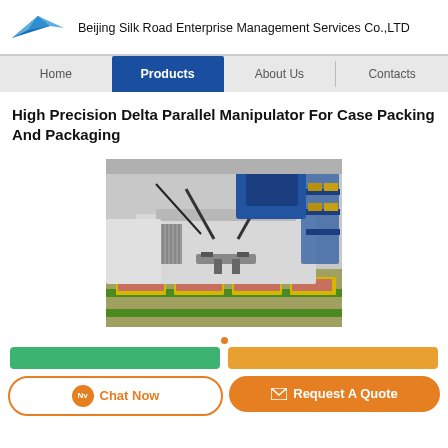Beijing Silk Road Enterprise Management Services Co.,LTD
Products (navigation: Home | Products | About Us | Contacts)
High Precision Delta Parallel Manipulator For Case Packing And Packaging
[Figure (photo): Industrial delta parallel robot manipulator machine for case packing and packaging, showing robotic arm picking items on a conveyor line in a factory setting.]
Chat Now | Request A Quote